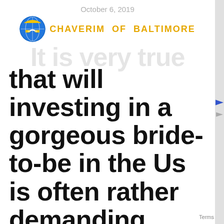October 6, 2019
[Figure (logo): Chaverim of Baltimore circular logo with handshake icon]
CHAVERIM OF BALTIMORE
It is very true that will investing in a gorgeous bride-to-be in the Us is often rather demanding.
Terms